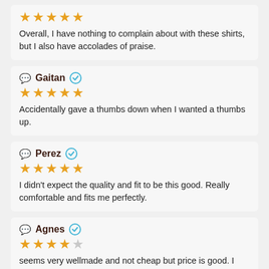★★★★★
Overall, I have nothing to complain about with these shirts, but I also have accolades of praise.
Gaitan ✓
★★★★★
Accidentally gave a thumbs down when I wanted a thumbs up.
Perez ✓
★★★★★
I didn't expect the quality and fit to be this good. Really comfortable and fits me perfectly.
Agnes ✓
★★★★☆
seems very wellmade and not cheap but price is good. I wish they made more colors for men, this is still a stylish, casual piece.